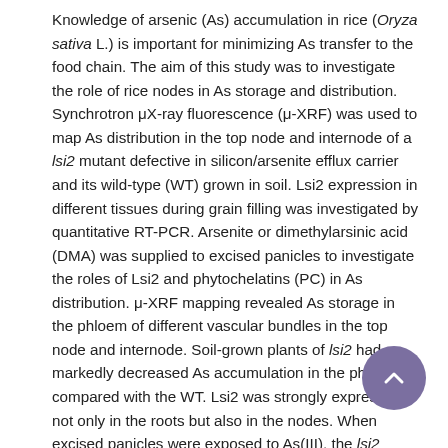Knowledge of arsenic (As) accumulation in rice (Oryza sativa L.) is important for minimizing As transfer to the food chain. The aim of this study was to investigate the role of rice nodes in As storage and distribution. Synchrotron μX-ray fluorescence (μ-XRF) was used to map As distribution in the top node and internode of a lsi2 mutant defective in silicon/arsenite efflux carrier and its wild-type (WT) grown in soil. Lsi2 expression in different tissues during grain filling was investigated by quantitative RT-PCR. Arsenite or dimethylarsinic acid (DMA) was supplied to excised panicles to investigate the roles of Lsi2 and phytochelatins (PC) in As distribution. μ-XRF mapping revealed As storage in the phloem of different vascular bundles in the top node and internode. Soil-grown plants of lsi2 had markedly decreased As accumulation in the phloem compared with the WT. Lsi2 was strongly expressed, not only in the roots but also in the nodes. When excised panicles were exposed to As(III), the lsi2 mutant distributed more As to the node and flag leaf but less As to the grain compared with the WT, while there was no significant difference in DMA distribution. Inhibition of PC synthesis by l-buthionine-sulphoximine decreased As(III) deposition in the top node but increased As accumulation in the grain and flag leaf. The results suggest that rice nodes serve as a filter restricting As(III) distribution to the grain. Furthermore